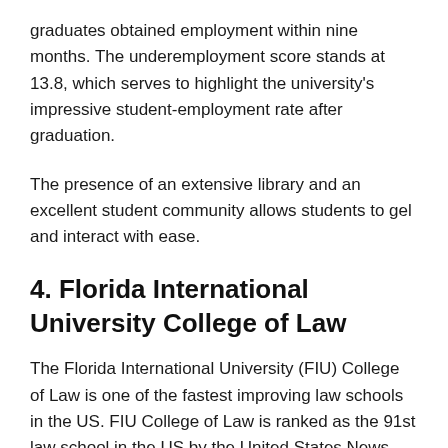graduates obtained employment within nine months. The underemployment score stands at 13.8, which serves to highlight the university's impressive student-employment rate after graduation.
The presence of an extensive library and an excellent student community allows students to gel and interact with ease.
4. Florida International University College of Law
The Florida International University (FIU) College of Law is one of the fastest improving law schools in the US. FIU College of Law is ranked as the 91st law school in the US by the United States News and